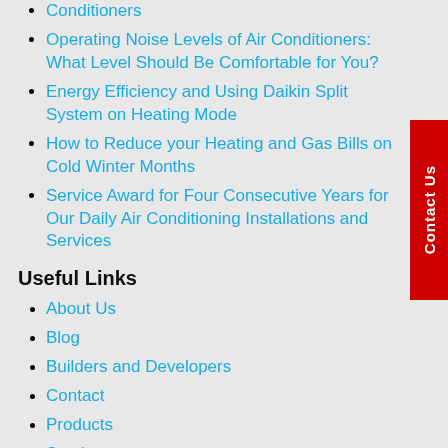Conditioners
Operating Noise Levels of Air Conditioners: What Level Should Be Comfortable for You?
Energy Efficiency and Using Daikin Split System on Heating Mode
How to Reduce your Heating and Gas Bills on Cold Winter Months
Service Award for Four Consecutive Years for Our Daily Air Conditioning Installations and Services
Useful Links
About Us
Blog
Builders and Developers
Contact
Products
Services
Follow Us